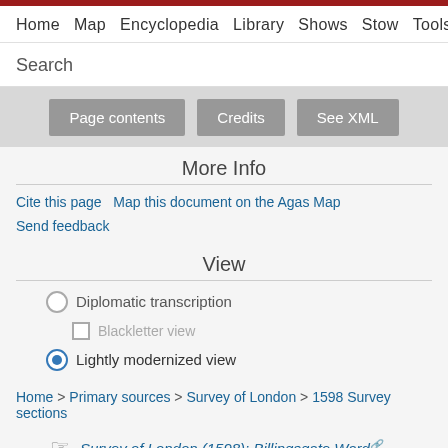Home  Map  Encyclopedia  Library  Shows  Stow  Tools  About
Search
[Figure (screenshot): Faded map background with three grey buttons: Page contents, Credits, See XML]
More Info
Cite this page   Map this document on the Agas Map
Send feedback
View
Diplomatic transcription
Blackletter view
Lightly modernized view
Home > Primary sources > Survey of London > 1598 Survey sections
Survey of London (1598): Billingsgate Ward